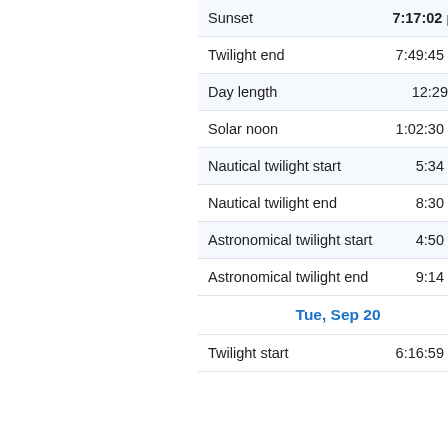|  |  |
| --- | --- |
| Sunset | 7:17:02 pm |
| Twilight end | 7:49:45 pm |
| Day length | 12:29:04 |
| Solar noon | 1:02:30 pm |
| Nautical twilight start | 5:34 am |
| Nautical twilight end | 8:30 pm |
| Astronomical twilight start | 4:50 am |
| Astronomical twilight end | 9:14 pm |
| Tue, Sep 20 |  |
| Twilight start | 6:16:59 am |